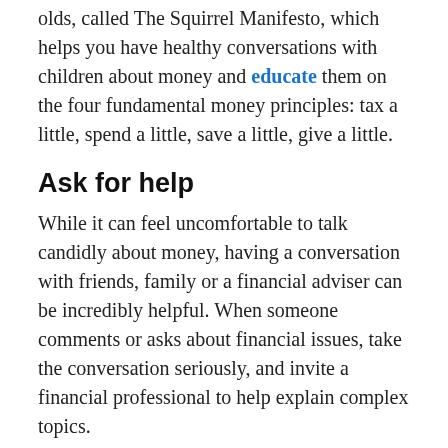olds, called The Squirrel Manifesto, which helps you have healthy conversations with children about money and educate them on the four fundamental money principles: tax a little, spend a little, save a little, give a little.
Ask for help
While it can feel uncomfortable to talk candidly about money, having a conversation with friends, family or a financial adviser can be incredibly helpful. When someone comments or asks about financial issues, take the conversation seriously, and invite a financial professional to help explain complex topics.
Educate children early